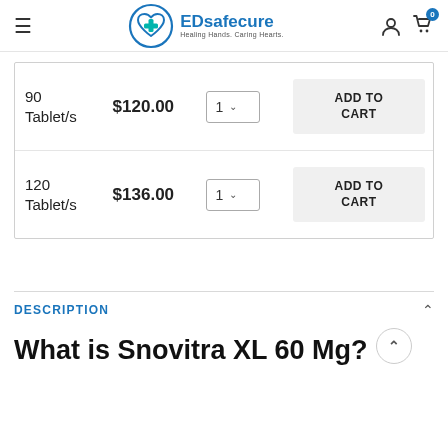EDsafecure — Healing Hands. Caring Hearts.
| Quantity | Price | Qty | Action |
| --- | --- | --- | --- |
| 90 Tablet/s | $120.00 | 1 | ADD TO CART |
| 120 Tablet/s | $136.00 | 1 | ADD TO CART |
DESCRIPTION
What is Snovitra XL 60 Mg?